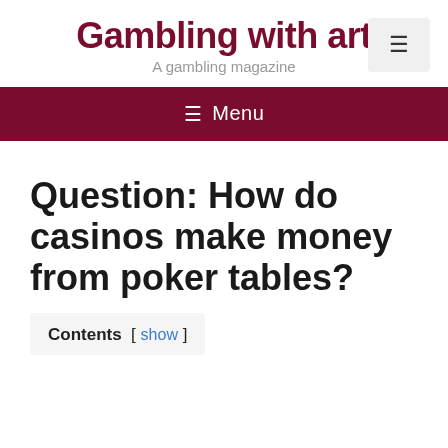Gambling with art
A gambling magazine
≡ Menu
Question: How do casinos make money from poker tables?
Contents [ show ]